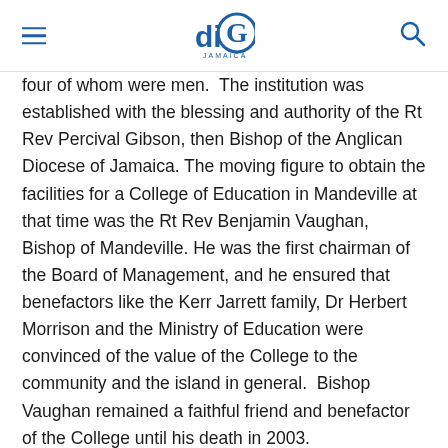diG Jamaica
four of whom were men.  The institution was established with the blessing and authority of the Rt Rev Percival Gibson, then Bishop of the Anglican Diocese of Jamaica.  The moving figure to obtain the facilities for a College of Education in Mandeville at that time was the Rt Rev Benjamin Vaughan, Bishop of Mandeville. He was the first chairman of the Board of Management, and he ensured that benefactors like the Kerr Jarrett family, Dr Herbert Morrison and the Ministry of Education were convinced of the value of the College to the community and the island in general.  Bishop Vaughan remained a faithful friend and benefactor of the College until his death in 2003.
The College began with 25 pre-service teachers in the Primary Programme and 50 in the Secondary